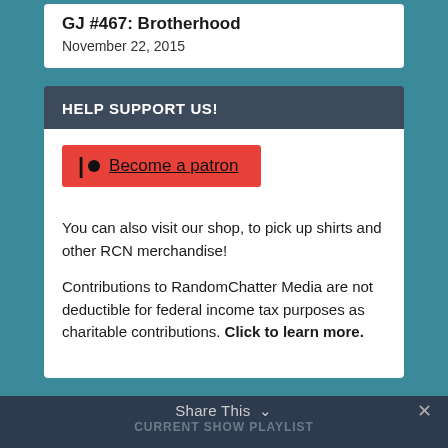GJ #467: Brotherhood
November 22, 2015
HELP SUPPORT US!
[Figure (logo): Patreon button with logo - Become a patron]
You can also visit our shop, to pick up shirts and other RCN merchandise!
Contributions to RandomChatter Media are not deductible for federal income tax purposes as charitable contributions. Click to learn more.
Share This  ∨    ✕
CURRENT SHOW PLAYLIST